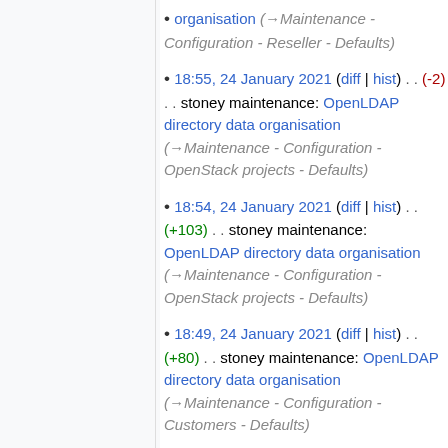organisation (→Maintenance - Configuration - Reseller - Defaults)
18:55, 24 January 2021 (diff | hist) . . (-2) . . stoney maintenance: OpenLDAP directory data organisation (→Maintenance - Configuration - OpenStack projects - Defaults)
18:54, 24 January 2021 (diff | hist) . . (+103) . . stoney maintenance: OpenLDAP directory data organisation (→Maintenance - Configuration - OpenStack projects - Defaults)
18:49, 24 January 2021 (diff | hist) . . (+80) . . stoney maintenance: OpenLDAP directory data organisation (→Maintenance - Configuration - Customers - Defaults)
18:49, 24 January 2021 (diff | hist) . . (+80) . . stoney maintenance: